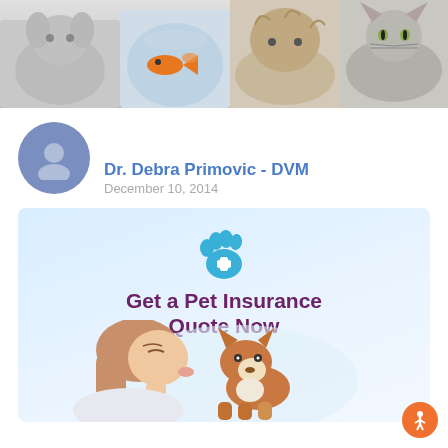[Figure (photo): Banner strip showing various pets: dogs, a goldfish bowl, a cat, and other animals]
Dr. Debra Primovic - DVM
December 10, 2014
[Figure (infographic): Pet insurance advertisement banner with a blue paw print with a medical cross symbol, text 'Get a Pet Insurance Quote Now', and a photo of a girl kissing a small dog (basenji puppy)]